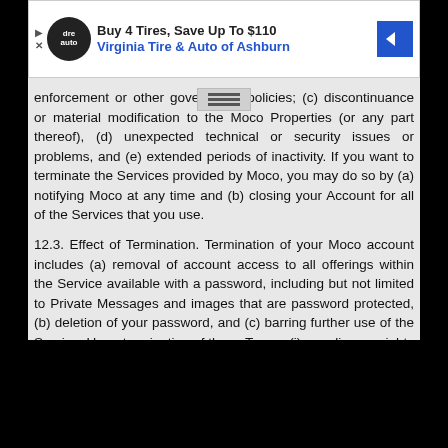[Figure (screenshot): Advertisement banner for Virginia Tire & Auto of Ashburn: 'Buy 4 Tires, Save Up To $110']
enforcement or other government policies; (c) discontinuance or material modification to the Moco Properties (or any part thereof), (d) unexpected technical or security issues or problems, and (e) extended periods of inactivity. If you want to terminate the Services provided by Moco, you may do so by (a) notifying Moco at any time and (b) closing your Account for all of the Services that you use.
12.3. Effect of Termination. Termination of your Moco account includes (a) removal of account access to all offerings within the Service available with a password, including but not limited to Private Messages and images that are password protected, (b) deletion of your password, and (c) barring further use of the Service. Upon termination of these Terms: (i) your license rights will terminate any you must immediately cease all use of the Services; (ii) you will no longer have access to your Account, including Your Content; (iii) you must remit to Moco any unpaid amounts due prior to termination; and (iv) upon termination of these Terms, all payment obligations accrued prior to termination and all provisions of the Terms which by their
Meet   Rooms   Chat   Me